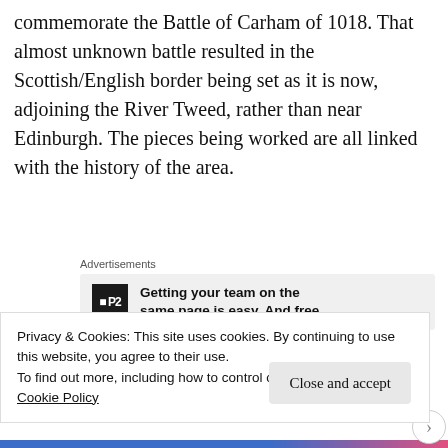commemorate the Battle of Carham of 1018. That almost unknown battle resulted in the Scottish/English border being set as it is now, adjoining the River Tweed, rather than near Edinburgh. The pieces being worked are all linked with the history of the area.
[Figure (other): Advertisement block for P2 service: logo icon with 'P2', text reading 'Getting your team on the same page is easy. And free.' on grey background, labeled 'Advertisements']
There are many stories of Worms in the area –
Privacy & Cookies: This site uses cookies. By continuing to use this website, you agree to their use.
To find out more, including how to control cookies, see here: Cookie Policy
Close and accept